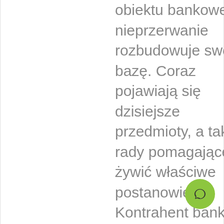obiektu bankowe, nieprzerwanie rozbudowuje swoją bazę. Coraz pojawiają się dzisiejsze przedmioty, a także rady pomagające żywić właściwe postanowienia. Kontrahent bankowy zwiedzający lokalny witryna dowie się, w której miejscu tacji
[Figure (other): Green circular chat button with speech bubble icon in the bottom right corner]